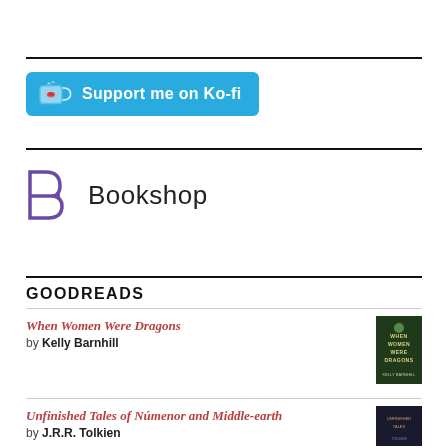[Figure (logo): Ko-fi support button — cyan/blue rounded rectangle with white cup icon and text 'Support me on Ko-fi']
[Figure (logo): Bookshop logo — stylized purple 'B' letterform followed by the word 'Bookshop' in dark sans-serif text]
GOODREADS
When Women Were Dragons by Kelly Barnhill
Unfinished Tales of Númenor and Middle-earth by J.R.R. Tolkien